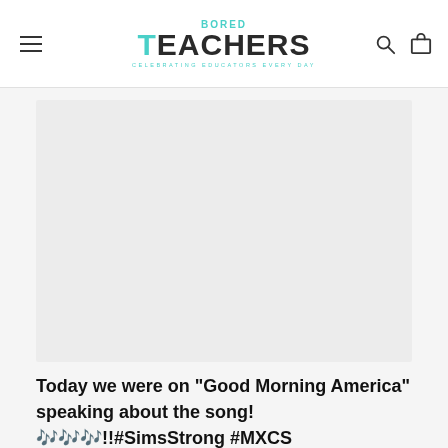BORED TEACHERS — Celebrating Educators Every Day
[Figure (photo): Large image placeholder area, light gray background, representing a photo from Good Morning America appearance]
Today we were on "Good Morning America" speaking about the song! 🎶🎶🎶!!#SimsStrong #MXCS